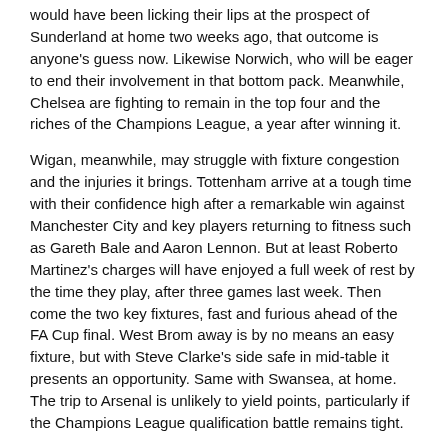would have been licking their lips at the prospect of Sunderland at home two weeks ago, that outcome is anyone's guess now. Likewise Norwich, who will be eager to end their involvement in that bottom pack. Meanwhile, Chelsea are fighting to remain in the top four and the riches of the Champions League, a year after winning it.
Wigan, meanwhile, may struggle with fixture congestion and the injuries it brings. Tottenham arrive at a tough time with their confidence high after a remarkable win against Manchester City and key players returning to fitness such as Gareth Bale and Aaron Lennon. But at least Roberto Martinez's charges will have enjoyed a full week of rest by the time they play, after three games last week. Then come the two key fixtures, fast and furious ahead of the FA Cup final. West Brom away is by no means an easy fixture, but with Steve Clarke's side safe in mid-table it presents an opportunity. Same with Swansea, at home. The trip to Arsenal is unlikely to yield points, particularly if the Champions League qualification battle remains tight.
Neither club is in an enviable position, but in a league whose victor has been known for some time, the contest between Wigan Athletic and Aston Villa at the other end is as tight as they come.